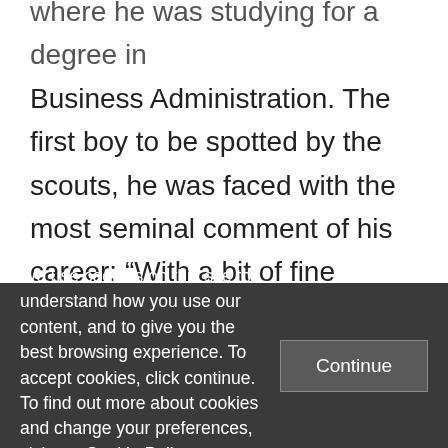where he was studying for a degree in Business Administration. The first boy to be spotted by the scouts, he was faced with the most seminal comment of his career: “With a bit of fine polishing, you will be a star”. Things happened rapidly from then. Just 2 days later – delayed only by a university examination the day after these promising words – Francis found himself on a bus to Kampala. He couldn’t describe the nerves he
We use cookies on this site to understand how you use our content, and to give you the best browsing experience. To accept cookies, click continue. To find out more about cookies and change your preferences, visit our Cookie Policy.